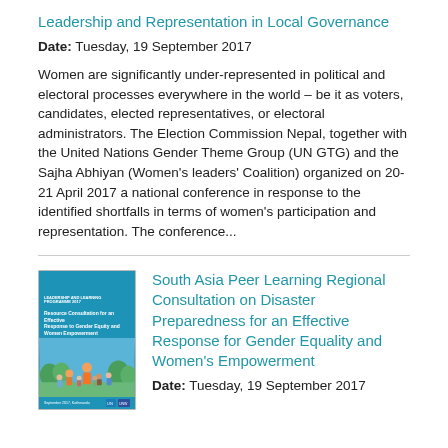Leadership and Representation in Local Governance
Date: Tuesday, 19 September 2017
Women are significantly under-represented in political and electoral processes everywhere in the world – be it as voters, candidates, elected representatives, or electoral administrators. The Election Commission Nepal, together with the United Nations Gender Theme Group (UN GTG) and the Sajha Abhiyan (Women's leaders' Coalition) organized on 20-21 April 2017 a national conference in response to the identified shortfalls in terms of women's participation and representation. The conference...
[Figure (photo): Book cover for South Asia Peer Learning Regional Consultation on Disaster Preparedness for an Effective Response for Gender Equality and Women's Empowerment, with a photo of a crowd gathering outdoors]
South Asia Peer Learning Regional Consultation on Disaster Preparedness for an Effective Response for Gender Equality and Women's Empowerment
Date: Tuesday, 19 September 2017